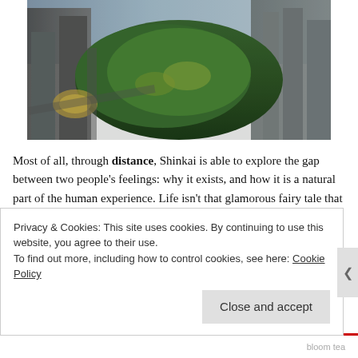[Figure (photo): Aerial view of a city park with dense green trees surrounded by urban buildings, viewed from above at an angle.]
Most of all, through distance, Shinkai is able to explore the gap between two people's feelings: why it exists, and how it is a natural part of the human experience. Life isn't that glamorous fairy tale that Disney or Hollywood make it out to be. Instead, Shinkai tells us it can be messy, and often times painful to shoulder alone. It’s okay to fall both in love and out of it, as people are always changing. He also teaches that you can, in fact, grow as an adult; emotional maturity has nothing to do with one’s age, for even as adults we can get lost on our
Privacy & Cookies: This site uses cookies. By continuing to use this website, you agree to their use.
To find out more, including how to control cookies, see here: Cookie Policy
Close and accept